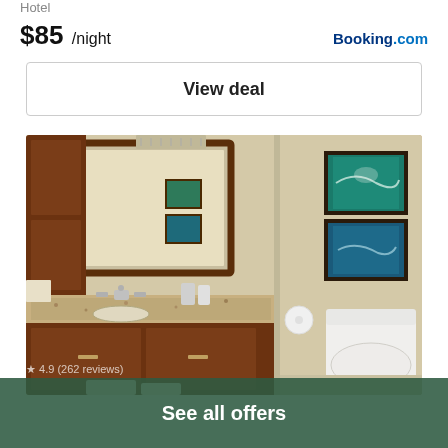Hotel
$85 /night
Booking.com
View deal
[Figure (photo): Hotel bathroom with wood vanity, granite countertop, large mirror, and a toilet area with teal ocean artwork on beige walls]
4.9 (262 reviews)
See all offers